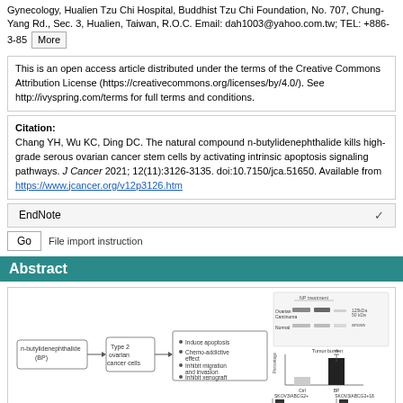Gynecology, Hualien Tzu Chi Hospital, Buddhist Tzu Chi Foundation, No. 707, Chung-Yang Rd., Sec. 3, Hualien, Taiwan, R.O.C. Email: dah1003@yahoo.com.tw; TEL: +886-3-85 [More]
This is an open access article distributed under the terms of the Creative Commons Attribution License (https://creativecommons.org/licenses/by/4.0/). See http://ivyspring.com/terms for full terms and conditions.
Citation: Chang YH, Wu KC, Ding DC. The natural compound n-butylidenephthalide kills high-grade serous ovarian cancer stem cells by activating intrinsic apoptosis signaling pathways. J Cancer 2021; 12(11):3126-3135. doi:10.7150/jca.51650. Available from https://www.jcancer.org/v12p3126.htm
EndNote
Go   File import instruction
Abstract
[Figure (infographic): Graphical abstract showing n-butylidenephthalide (BP) acting on Type 2 ovarian cancer cells with effects including: Induce apoptosis, Chemo-addictive effect, Inhibit migration and invasion, Inhibit xenograft. Also shows western blot images and bar charts for tumor burden and cell viability/invasion data.]